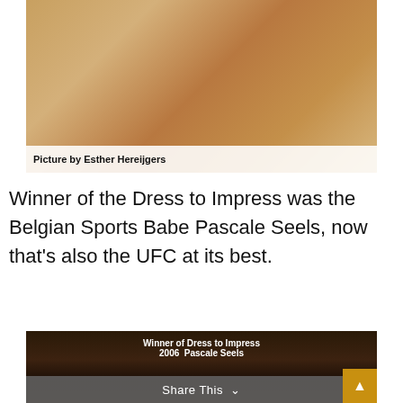[Figure (photo): Photo of a woman in a black outfit and strappy black high heels posing on sand/floor. Photo credit: Picture by Esther Hereijgers]
Picture by Esther Hereijgers
Winner of the Dress to Impress was the Belgian Sports Babe Pascale Seels, now that’s also the UFC at its best.
[Figure (photo): Photo of Pascale Seels with text overlay reading 'Winner of Dress to Impress 2006  Pascale Seels']
Share This